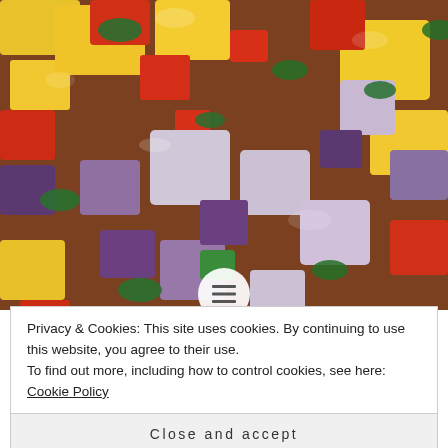[Figure (photo): Close-up photo of colorful salsa with diced yellow mango, red peppers, red onion, green cilantro and other vegetables]
Privacy & Cookies: This site uses cookies. By continuing to use this website, you agree to their use.
To find out more, including how to control cookies, see here: Cookie Policy
Close and accept
When I think of salsa I normally I think traditional